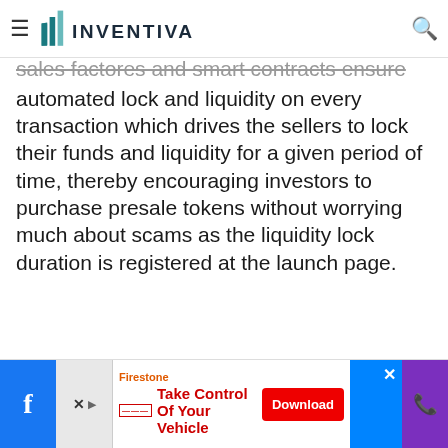INVENTIVA
sales factores and smart contracts ensure automated lock and liquidity on every transaction which drives the sellers to lock their funds and liquidity for a given period of time, thereby encouraging investors to purchase presale tokens without worrying much about scams as the liquidity lock duration is registered at the launch page.
[Figure (screenshot): Advertisement banner: Firestone 'Take Control Of Your Vehicle' with Download button]